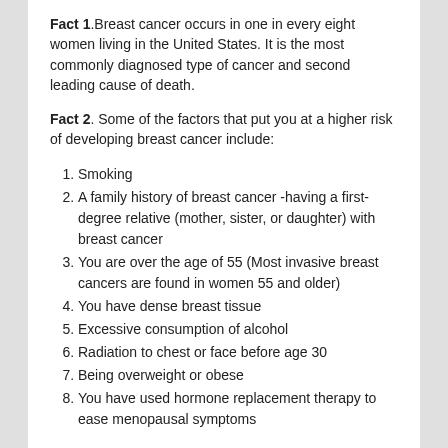Fact 1.Breast cancer occurs in one in every eight women living in the United States. It is the most commonly diagnosed type of cancer and second leading cause of death.
Fact 2. Some of the factors that put you at a higher risk of developing breast cancer include:
Smoking
A family history of breast cancer -having a first-degree relative (mother, sister, or daughter) with breast cancer
You are over the age of 55 (Most invasive breast cancers are found in women 55 and older)
You have dense breast tissue
Excessive consumption of alcohol
Radiation to chest or face before age 30
Being overweight or obese
You have used hormone replacement therapy to ease menopausal symptoms